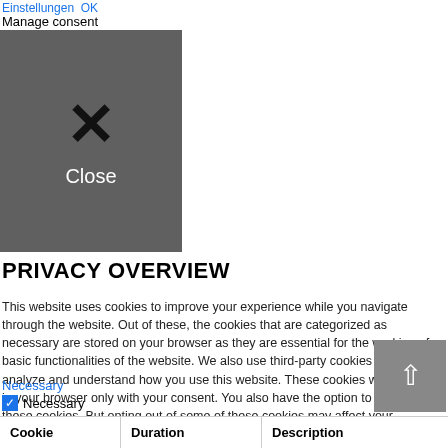Einstellungen  OK
Manage consent
[Figure (screenshot): Dark gray close button with X icon and 'Close' label]
PRIVACY OVERVIEW
This website uses cookies to improve your experience while you navigate through the website. Out of these, the cookies that are categorized as necessary are stored on your browser as they are essential for the working of basic functionalities of the website. We also use third-party cookies that help us analyze and understand how you use this website. These cookies will be stored in your browser only with your consent. You also have the option to opt-out of these cookies. But opting out of some of these cookies may affect your browsing experience.
Necessary
Necessary
Always Enabled
Necessary cookies are absolutely essential for the website to function properly. These cookies ensure basic functionalities and security features of the website, anonymously.
| Cookie | Duration | Description |
| --- | --- | --- |